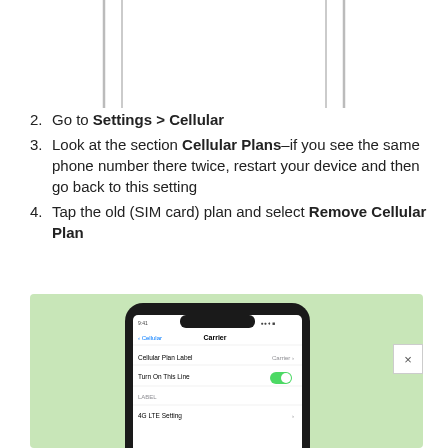[Figure (illustration): Partial outline of a rounded rectangle shape (SIM card tray or similar) shown at top of page, cropped]
2. Go to Settings > Cellular
3. Look at the section Cellular Plans–if you see the same phone number there twice, restart your device and then go back to this setting
4. Tap the old (SIM card) plan and select Remove Cellular Plan
[Figure (screenshot): iPhone X showing Settings > Cellular > Carrier screen with Cellular Plan Label and Turn On This Line options, on a light green background]